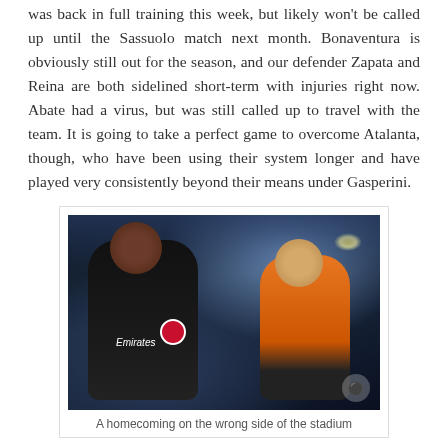was back in full training this week, but likely won't be called up until the Sassuolo match next month. Bonaventura is obviously still out for the season, and our defender Zapata and Reina are both sidelined short-term with injuries right now. Abate had a virus, but was still called up to travel with the team. It is going to take a perfect game to overcome Atalanta, though, who have been using their system longer and have played very consistently beyond their means under Gasperini.
[Figure (photo): Two AC Milan players celebrating, one in dark jersey with Emirates sponsor and AC Milan badge, another in orange training vest, photographed in a stadium at night]
A homecoming on the wrong side of the stadium
I have so very much respect for Atalanta, and for what